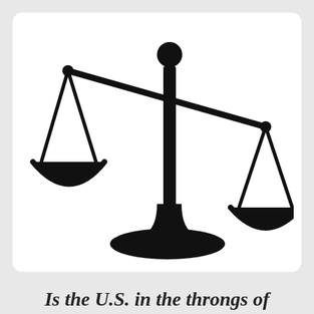[Figure (illustration): A black silhouette of scales of justice (balance scale), tilted with the left pan lower than the right pan, on a white rounded-rectangle background.]
Is the U.S. in the throngs of